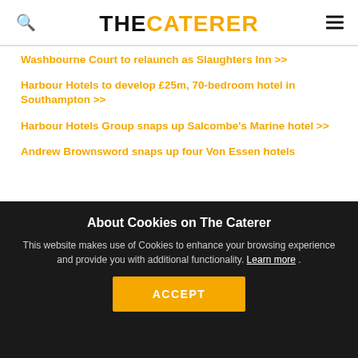THE CATERER
Washbourne Court to relaunch as Slaughters Inn >>
Harbour Hotels to develop £25m, 70-bedroom hotel in Southampton >>
Harbour Hotels Group snaps up Salcombe's Marine hotel >>
Andrew Brownsword snaps up four Von Essen hotels
About Cookies on The Caterer
This website makes use of Cookies to enhance your browsing experience and provide you with additional functionality. Learn more .
ACCEPT